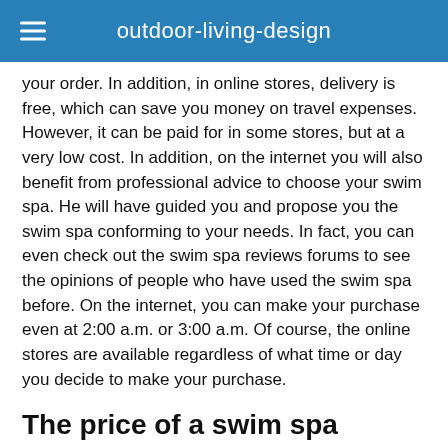outdoor-living-design
your order. In addition, in online stores, delivery is free, which can save you money on travel expenses. However, it can be paid for in some stores, but at a very low cost. In addition, on the internet you will also benefit from professional advice to choose your swim spa. He will have guided you and propose you the swim spa conforming to your needs. In fact, you can even check out the swim spa reviews forums to see the opinions of people who have used the swim spa before. On the internet, you can make your purchase even at 2:00 a.m. or 3:00 a.m. Of course, the online stores are available regardless of what time or day you decide to make your purchase.
The price of a swim spa
The price of a swim spa differs depending on its model and size. The number of seats, options and brand also determine the price of the spa. In general, the price of a swim spa is between 10,000 and 50,000 Euros, perhaps more depending on the dealer and the quality of the equipment. For a 2-seater swim spa with a size